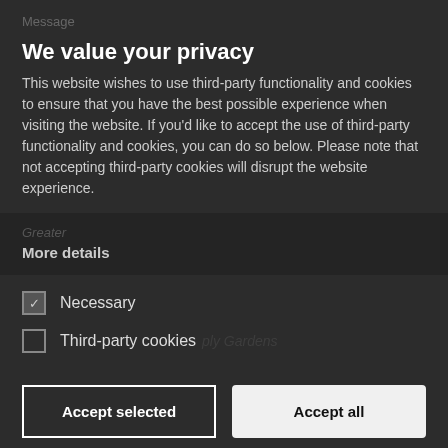Message
We value your privacy
This website wishes to use third-party functionality and cookies to ensure that you have the best possible experience when visiting the website. If you'd like to accept the use of third-party functionality and cookies, you can do so below. Please note that not accepting third-party cookies will disrupt the website experience.
More details
Necessary
Third-party cookies
Accept selected
Accept all